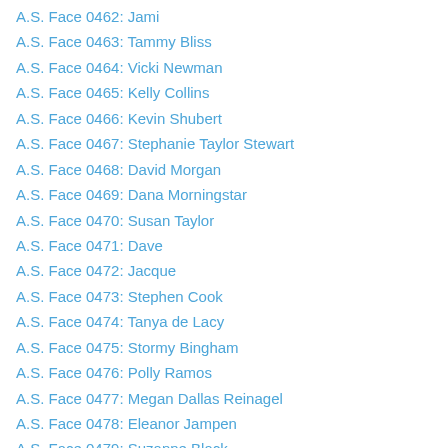A.S. Face 0462: Jami
A.S. Face 0463: Tammy Bliss
A.S. Face 0464: Vicki Newman
A.S. Face 0465: Kelly Collins
A.S. Face 0466: Kevin Shubert
A.S. Face 0467: Stephanie Taylor Stewart
A.S. Face 0468: David Morgan
A.S. Face 0469: Dana Morningstar
A.S. Face 0470: Susan Taylor
A.S. Face 0471: Dave
A.S. Face 0472: Jacque
A.S. Face 0473: Stephen Cook
A.S. Face 0474: Tanya de Lacy
A.S. Face 0475: Stormy Bingham
A.S. Face 0476: Polly Ramos
A.S. Face 0477: Megan Dallas Reinagel
A.S. Face 0478: Eleanor Jampen
A.S. Face 0479: Suzanne Black
A.S. Face 0480: Stephanie Drummond
A.S. Face 0481: Christopher Ni...